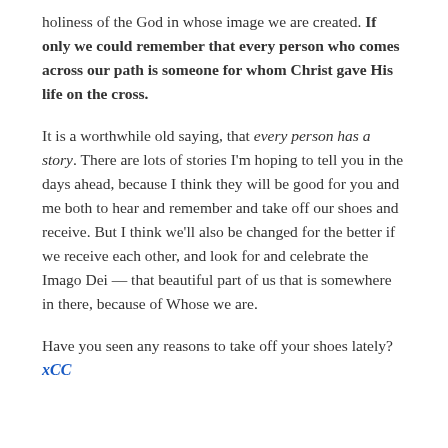holiness of the God in whose image we are created. If only we could remember that every person who comes across our path is someone for whom Christ gave His life on the cross.
It is a worthwhile old saying, that every person has a story. There are lots of stories I'm hoping to tell you in the days ahead, because I think they will be good for you and me both to hear and remember and take off our shoes and receive. But I think we'll also be changed for the better if we receive each other, and look for and celebrate the Imago Dei — that beautiful part of us that is somewhere in there, because of Whose we are.
Have you seen any reasons to take off your shoes lately?
xCC